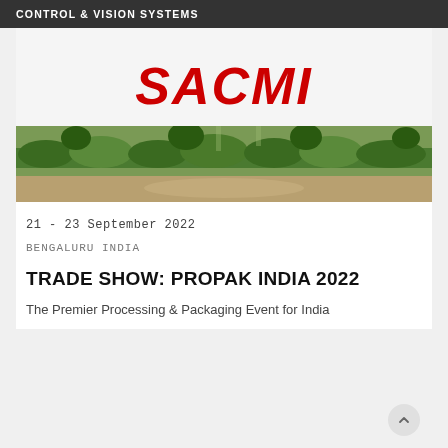CONTROL & VISION SYSTEMS
[Figure (logo): SACMI logo in bold red italic text]
[Figure (photo): Outdoor garden/park photo with green hedges, trees and a pathway]
21 - 23 September 2022
BENGALURU INDIA
TRADE SHOW: PROPAK INDIA 2022
The Premier Processing & Packaging Event for India